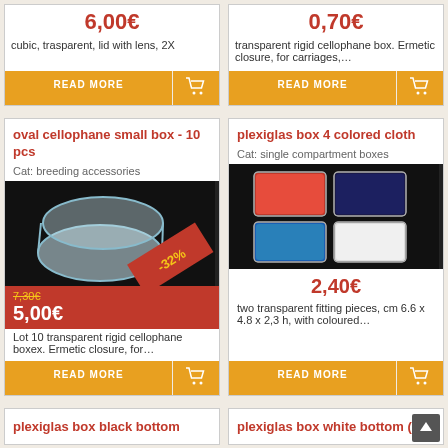6,00€
cubic, trasparent, lid with lens, 2X
0,70€
transparent rigid cellophane box. Ermetic closure, for carriages,…
oval cellophane small box - 10 pcs
Cat: breeding accessories
[Figure (photo): Photo of oval transparent rigid cellophane box with -32% discount badge]
7,30€  5,00€
Lot 10 transparent rigid cellophane boxex. Ermetic closure, for…
plexiglas box 4 colored cloth
Cat: single compartment boxes
[Figure (photo): Photo of plexiglas box with 4 colored cloth inserts: red, dark blue, blue, white]
2,40€
two transparent fitting pieces, cm 6.6 x 4.8 x 2,3 h, with coloured…
plexiglas box black bottom
plexiglas box white bottom (1)